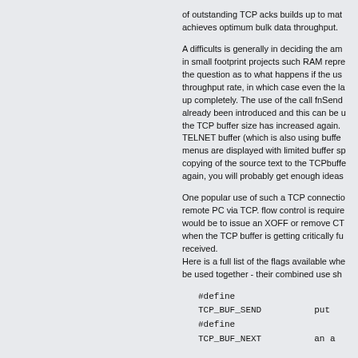of outstanding TCP acks builds up to match… achieves optimum bulk data throughput.
A difficults is generally in deciding the am… in small footprint projects such RAM repre… the question as to what happens if the us… throughput rate, in which case even the la… up completely. The use of the call fnSend… already been introduced and this can be u… the TCP buffer size has increased again. TELNET buffer (which is also using buffer… menus are displayed with limited buffer sp… copying of the source text to the TCPbuffe… again, you will probably get enough ideas…
One popular use of such a TCP connectio… remote PC via TCP. flow control is require… would be to issue an XOFF or remove CT… when the TCP buffer is getting critically fu… received. Here is a full list of the flags available whe… be used together - their combined use sh…
#define TCP_BUF_SEND        put
#define TCP_BUF_NEXT        an a